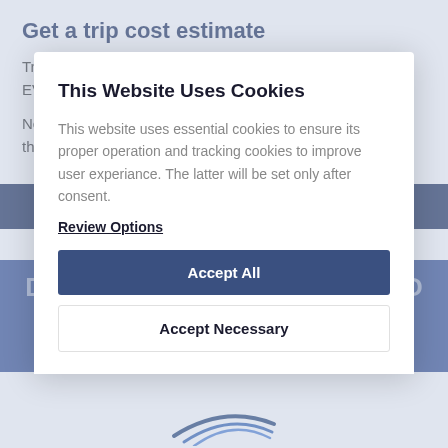Get a trip cost estimate
Trip cost estimates include airport fees, ground handling & EVO Jet's coordination fee.
Need more services? Just let us know and we will get you the best price.
Get your estimate
Don't have an account with EVO Jet? Sign Up today!
This Website Uses Cookies
This website uses essential cookies to ensure its proper operation and tracking cookies to improve user experiance. The latter will be set only after consent.
Review Options
Accept All
Accept Necessary
EVO JET PROUD MEMBER OF